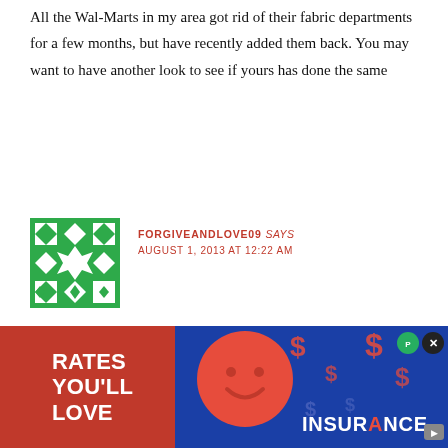All the Wal-Marts in my area got rid of their fabric departments for a few months, but have recently added them back. You may want to have another look to see if yours has done the same
[Figure (illustration): Green and white decorative avatar/gravatar icon with geometric snowflake-like pattern on green background]
FORGIVEANDLOVE09 says
AUGUST 1, 2013 AT 12:22 AM
A Wal-Mart in my area (Oklahoma) got rid of their fabric depart... s hop...
[Figure (infographic): Advertisement overlay: red section with text RATES YOU'LL LOVE, blue section with smiley face circle, dollar signs, and INSURANCE text]